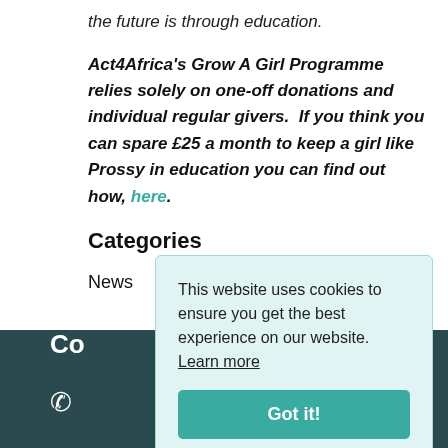the future is through education.
Act4Africa's Grow A Girl Programme relies solely on one-off donations and individual regular givers.  If you think you can spare £25 a month to keep a girl like Prossy in education you can find out how, here.
Categories
News
Co
This website uses cookies to ensure you get the best experience on our website. Learn more
Got it!